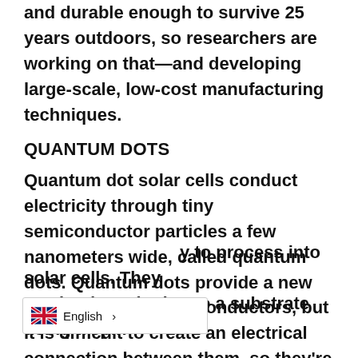and durable enough to survive 25 years outdoors, so researchers are working on that—and developing large-scale, low-cost manufacturing techniques.
QUANTUM DOTS
Quantum dot solar cells conduct electricity through tiny semiconductor particles a few nanometers wide, called quantum dots. Quantum dots provide a new way to process semiconductors, but it is difficult to create an electrical connection between them, so they're not very efficient.
y to process into solar cells. They can be deposited onto a substrate using a spin-